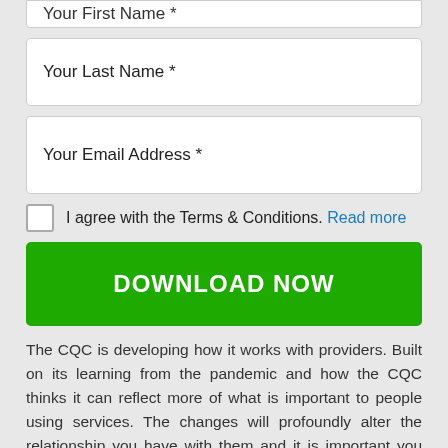Your First Name *
Your Last Name *
Your Email Address *
I agree with the Terms & Conditions. Read more
DOWNLOAD NOW
The CQC is developing how it works with providers. Built on its learning from the pandemic and how the CQC thinks it can reflect more of what is important to people using services. The changes will profoundly alter the relationship you have with them and it is important you find out what information they will use to assess the quality of your service, possibly without a visit to you.